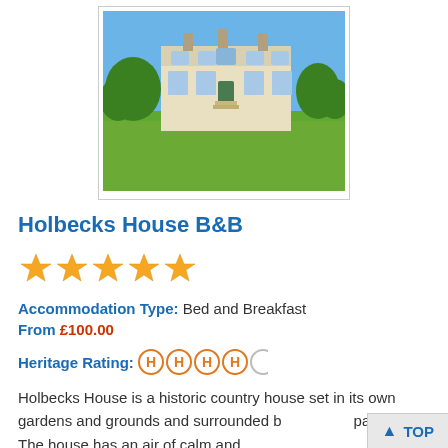[Figure (photo): Large country house / manor set on green lawns under blue sky, a pale yellow two-storey building with chimneys and many windows, bordered by trees.]
Holbecks House B&B
[Figure (other): Five gold star rating icons]
Accommodation Type: Bed and Breakfast
From £100.00
Heritage Rating: HHHH (4 out of 5 heritage icons)
Holbecks House is a historic country house set in its own gardens and grounds and surrounded by parkland. The house has an air of calm and